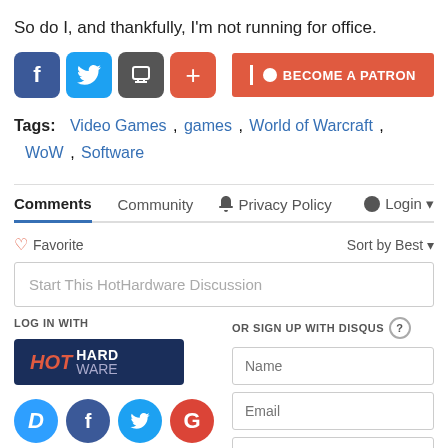So do I, and thankfully, I'm not running for office.
[Figure (other): Social share buttons (Facebook, Twitter, archive, plus) and Become a Patron button]
Tags: Video Games , games , World of Warcraft , WoW , Software
Comments  Community  Privacy Policy  Login
♡ Favorite   Sort by Best
Start This HotHardware Discussion
LOG IN WITH
[Figure (logo): HotHardware login button]
OR SIGN UP WITH DISQUS (?)
[Figure (other): Disqus, Facebook, Twitter, Google social login icons]
Name
Email
Password